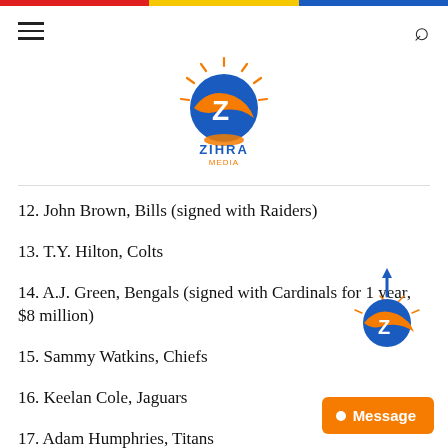[Figure (logo): Zihra Media logo with orange sun and blue Z shape, text 'ZIHRA MEDIA' below]
12. John Brown, Bills (signed with Raiders)
13. T.Y. Hilton, Colts
14. A.J. Green, Bengals (signed with Cardinals for 1 year, $8 million)
15. Sammy Watkins, Chiefs
16. Keelan Cole, Jaguars
17. Adam Humphries, Titans
18. Danny Amendola, Lions